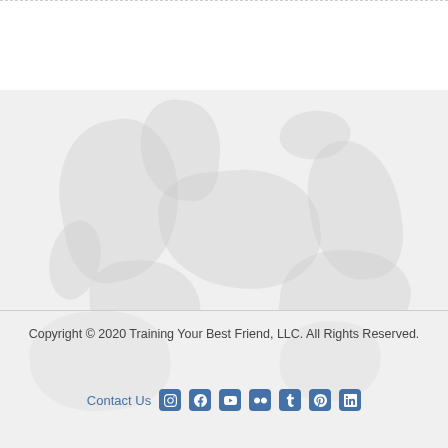[Figure (photo): Faint watermark-style background image of a dog, light gray tones blending into the page background]
Copyright © 2020 Training Your Best Friend, LLC. All Rights Reserved.
Contact Us
Contact Us  [Instagram] [Facebook] [YouTube] [Flickr] [Tumblr] [Pinterest] [LinkedIn]